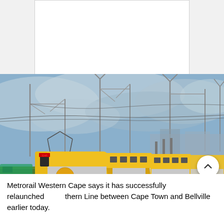[Figure (photo): White blank card/placeholder at the top center of the page]
[Figure (photo): A yellow and silver Metrorail commuter train travelling on tracks under overhead electric cables and gantries, photographed at a rail yard with cloudy sky in background]
Metrorail Western Cape says it has successfully relaunched thern Line between Cape Town and Bellville earlier today.